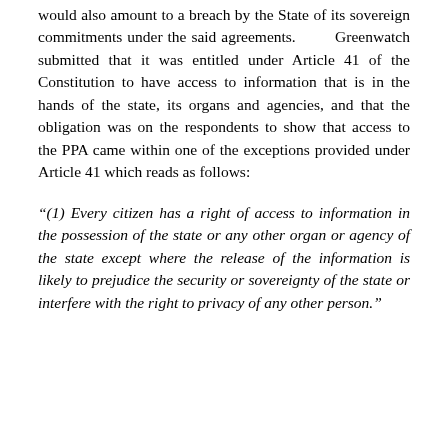would also amount to a breach by the State of its sovereign commitments under the said agreements. Greenwatch submitted that it was entitled under Article 41 of the Constitution to have access to information that is in the hands of the state, its organs and agencies, and that the obligation was on the respondents to show that access to the PPA came within one of the exceptions provided under Article 41 which reads as follows:
"(1) Every citizen has a right of access to information in the possession of the state or any other organ or agency of the state except where the release of the information is likely to prejudice the security or sovereignty of the state or interfere with the right to privacy of any other person."